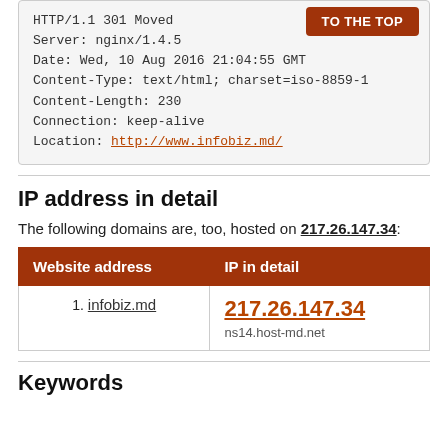HTTP/1.1 301 Moved
Server: nginx/1.4.5
Date: Wed, 10 Aug 2016 21:04:55 GMT
Content-Type: text/html; charset=iso-8859-1
Content-Length: 230
Connection: keep-alive
Location: http://www.infobiz.md/
IP address in detail
The following domains are, too, hosted on 217.26.147.34:
| Website address | IP in detail |
| --- | --- |
| 1. infobiz.md | 217.26.147.34
ns14.host-md.net |
Keywords